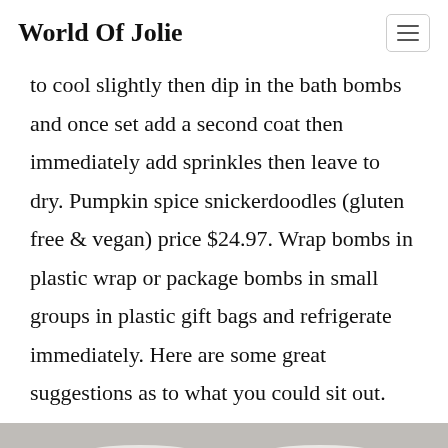World Of Jolie
to cool slightly then dip in the bath bombs and once set add a second coat then immediately add sprinkles then leave to dry. Pumpkin spice snickerdoodles (gluten free & vegan) price $24.97. Wrap bombs in plastic wrap or package bombs in small groups in plastic gift bags and refrigerate immediately. Here are some great suggestions as to what you could sit out.
[Figure (photo): Photo of white mugs or bowls on a surface, partially visible at the bottom of the page]